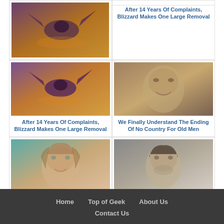[Figure (photo): Dragon flying in a fantasy game scene (World of Warcraft style)]
After 14 Years Of Complaints, Blizzard Makes One Large Removal
[Figure (photo): Close-up photo of a male actor smiling, appears to be Javier Bardem]
We Finally Understand The Ending Of No Country For Old Men
[Figure (photo): Close-up photo of a young woman with brown hair, appears to be Amouranth]
Amouranth's Super Shady Side Is No Secret Anymore
[Figure (photo): Close-up photo of a young man, appears to be Ashton Kutcher]
The Tragedy Of Ashton Kutcher Is Just Plain Sad
Home   Top of Geek   About Us   Contact Us